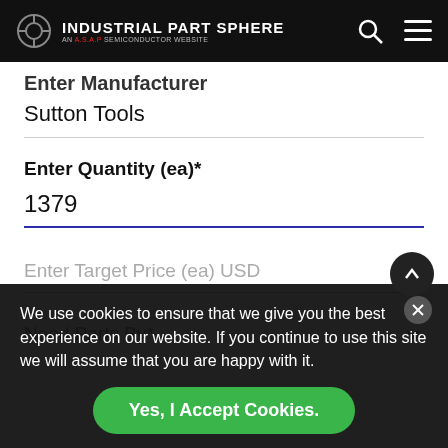INDUSTRIAL PART SPHERE
Enter Manufacturer
Sutton Tools
Enter Quantity (ea)*
1379
Enter Target Price (ea) USD
Need Parts By*
We use cookies to ensure that we give you the best experience on our website. If you continue to use this site we will assume that you are happy with it.
Yes, I Accept Cookies.